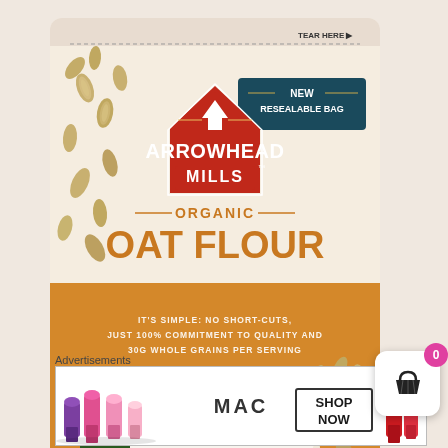[Figure (photo): Arrowhead Mills Organic Oat Flour bag product photo. Cream/beige resealable bag with golden-orange lower section. Features red badge logo with white arrow and text 'ARROWHEAD MILLS', 'ORGANIC OAT FLOUR'. Teal badge reads 'NEW RESEALABLE BAG'. Text on bag: 'IT'S SIMPLE: NO SHORT-CUTS, JUST 100% COMMITMENT TO QUALITY AND 30G WHOLE GRAINS PER SERVING'. USDA Organic and other certification logos. Oat grains scattered around bag. 'TEAR HERE' arrow at top right. Net weight label at bottom.]
Advertisements
[Figure (photo): MAC Cosmetics advertisement banner showing colorful lipsticks on the left, MAC logo in center, 'SHOP NOW' call to action box on right, and red lipstick on far right.]